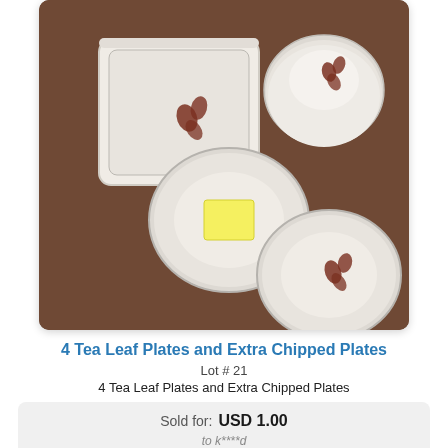[Figure (photo): Overhead photo of white ceramic Tea Leaf pattern dishes on brown background: a square baking dish with brown leaf motif, several round plates/bowls stacked and separate, one bowl with a yellow sticky note inside.]
4 Tea Leaf Plates and Extra Chipped Plates
Lot # 21
4 Tea Leaf Plates and Extra Chipped Plates
| Sold for: | USD 1.00 |
| --- | --- |
| to k****d |  |